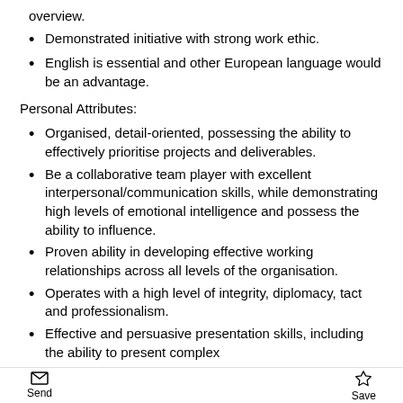overview.
Demonstrated initiative with strong work ethic.
English is essential and other European language would be an advantage.
Personal Attributes:
Organised, detail-oriented, possessing the ability to effectively prioritise projects and deliverables.
Be a collaborative team player with excellent interpersonal/communication skills, while demonstrating high levels of emotional intelligence and possess the ability to influence.
Proven ability in developing effective working relationships across all levels of the organisation.
Operates with a high level of integrity, diplomacy, tact and professionalism.
Effective and persuasive presentation skills, including the ability to present complex
Send  Save